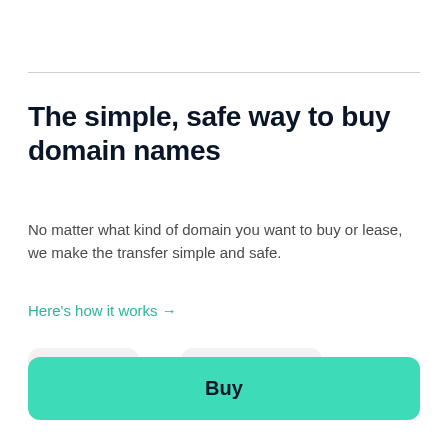The simple, safe way to buy domain names
No matter what kind of domain you want to buy or lease, we make the transfer simple and safe.
Here's how it works →
€2,700 or €225 /month
Buy